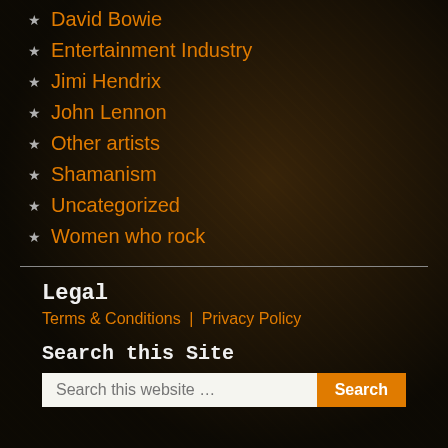David Bowie
Entertainment Industry
Jimi Hendrix
John Lennon
Other artists
Shamanism
Uncategorized
Women who rock
Legal
Terms & Conditions | Privacy Policy
Search this Site
Search this website …